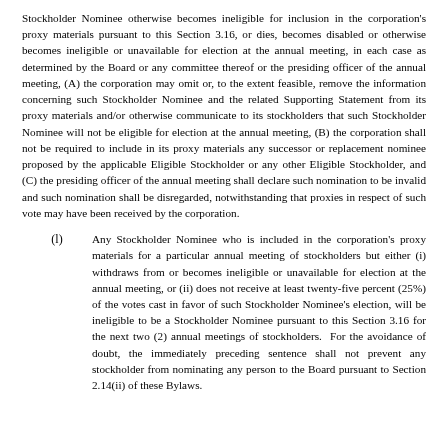Stockholder Nominee otherwise becomes ineligible for inclusion in the corporation's proxy materials pursuant to this Section 3.16, or dies, becomes disabled or otherwise becomes ineligible or unavailable for election at the annual meeting, in each case as determined by the Board or any committee thereof or the presiding officer of the annual meeting, (A) the corporation may omit or, to the extent feasible, remove the information concerning such Stockholder Nominee and the related Supporting Statement from its proxy materials and/or otherwise communicate to its stockholders that such Stockholder Nominee will not be eligible for election at the annual meeting, (B) the corporation shall not be required to include in its proxy materials any successor or replacement nominee proposed by the applicable Eligible Stockholder or any other Eligible Stockholder, and (C) the presiding officer of the annual meeting shall declare such nomination to be invalid and such nomination shall be disregarded, notwithstanding that proxies in respect of such vote may have been received by the corporation.
(l) Any Stockholder Nominee who is included in the corporation's proxy materials for a particular annual meeting of stockholders but either (i) withdraws from or becomes ineligible or unavailable for election at the annual meeting, or (ii) does not receive at least twenty-five percent (25%) of the votes cast in favor of such Stockholder Nominee's election, will be ineligible to be a Stockholder Nominee pursuant to this Section 3.16 for the next two (2) annual meetings of stockholders. For the avoidance of doubt, the immediately preceding sentence shall not prevent any stockholder from nominating any person to the Board pursuant to Section 2.14(ii) of these Bylaws.